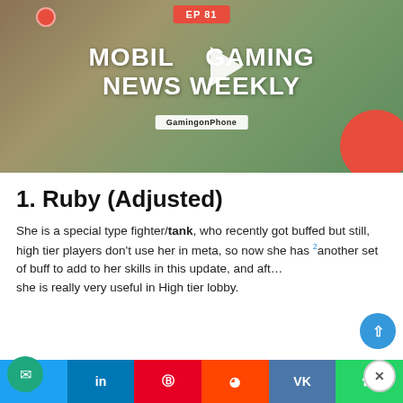[Figure (screenshot): Mobile Gaming News Weekly EP 81 YouTube thumbnail with GamingonPhone branding, play button, tropical game scene background with red circle decoration]
1. Ruby (Adjusted)
She is a special type fighter/tank, who recently got buffed but still, high tier players don't use her in meta, so now she has another set of buff to add to her skills in this update, and after she is really very useful in High tier lobby.